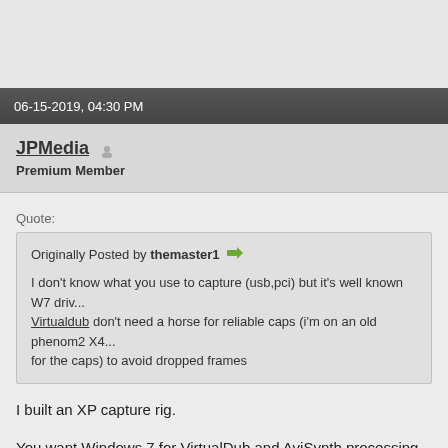06-15-2019, 04:30 PM
JPMedia  Premium Member
Quote:
Originally Posted by themaster1
I don't know what you use to capture (usb,pci) but it's well known W7 dri... Virtualdub don't need a horse for reliable caps (i'm on an old phenom2 X4... for the caps) to avoid dropped frames
I built an XP capture rig.

You want Windows 7 for VirtualDub and AviSynth processing post capture.

Also not sure what you mean about with these blown highlights.